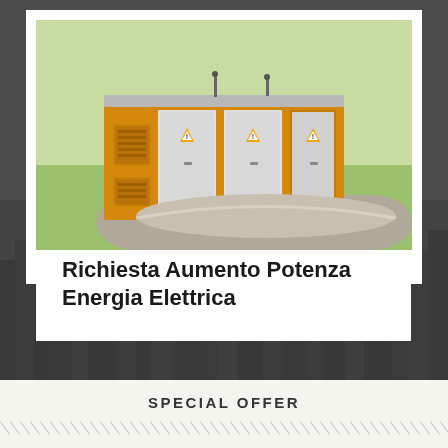[Figure (photo): Yellow electrical substation building with multiple white cabinet doors, set on a paved area with green field in background]
Richiesta Aumento Potenza Energia Elettrica
[Figure (photo): Dark grayscale aerial view of city skyline with tall buildings, used as background]
SPECIAL OFFER